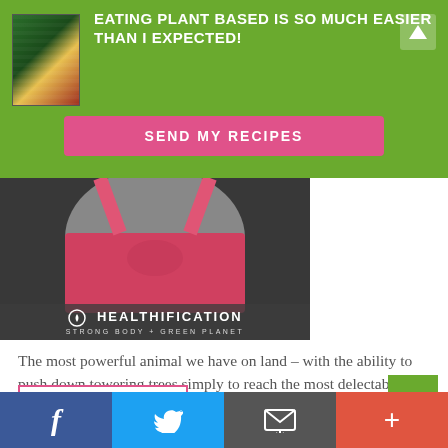[Figure (screenshot): Green promotional banner with book image, white bold text 'EATING PLANT BASED IS SO MUCH EASIER THAN I EXPECTED!' and a pink 'SEND MY RECIPES' button]
[Figure (photo): Photo of a fit person in a pink/red sports top, with 'HEALTHIFICATION STRONG BODY + GREEN PLANET' overlay text at the bottom]
The most powerful animal we have on land – with the ability to push down towering trees simply to reach the most delectable berries weighing in at up to 15,000 pounds can be held trapped in place by the most insignificant stake. How can it be that a flimsy rope and stake can so confine a mighty beast such as ...
READ MORE
[Figure (other): Social media bar with Facebook (blue), Twitter (light blue), email (grey), and add/share (orange-red) buttons]